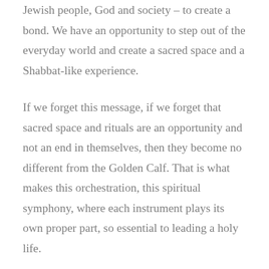Jewish people, God and society – to create a bond. We have an opportunity to step out of the everyday world and create a sacred space and a Shabbat-like experience.
If we forget this message, if we forget that sacred space and rituals are an opportunity and not an end in themselves, then they become no different from the Golden Calf. That is what makes this orchestration, this spiritual symphony, where each instrument plays its own proper part, so essential to leading a holy life.